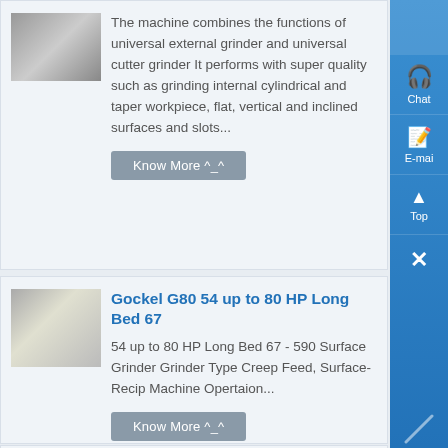The machine combines the functions of universal external grinder and universal cutter grinder It performs with super quality such as grinding internal cylindrical and taper workpiece, flat, vertical and inclined surfaces and slots...
Know More ^_^
Gockel G80 54 up to 80 HP Long Bed 67
54 up to 80 HP Long Bed 67 - 590 Surface Grinder Grinder Type Creep Feed, Surface-Recip Machine Opertaion...
Know More ^_^